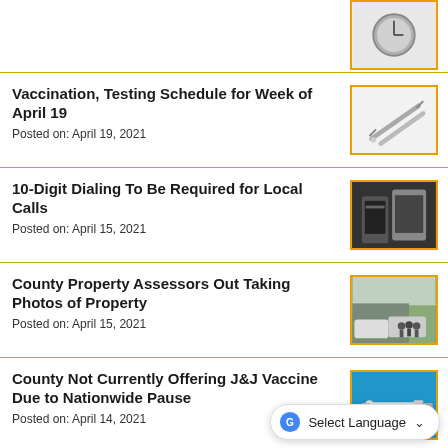Vaccination, Testing Schedule for Week of April 19
Posted on: April 19, 2021
[Figure (photo): Vaccine syringes on light background]
10-Digit Dialing To Be Required for Local Calls
Posted on: April 15, 2021
[Figure (photo): Phones on dark background]
County Property Assessors Out Taking Photos of Property
Posted on: April 15, 2021
[Figure (photo): People standing by vehicles outdoors]
County Not Currently Offering J&J Vaccine Due to Nationwide Pause
Posted on: April 14, 2021
[Figure (photo): Syringe on blue background]
Churchill County Vaccination, Schedule for April 12-17